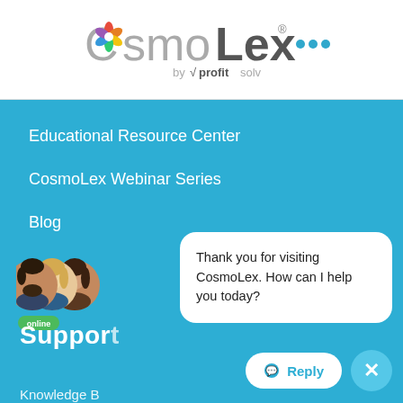[Figure (logo): CosmoLex logo by ProfitSolv with colorful flower/leaf icon and three blue dots]
Educational Resource Center
CosmoLex Webinar Series
Blog
[Figure (photo): Three circular avatars of support staff (man with beard, blonde woman, brunette woman) with green 'online' badge]
Thank you for visiting CosmoLex. How can I help you today?
Support
Reply
Knowledge Base